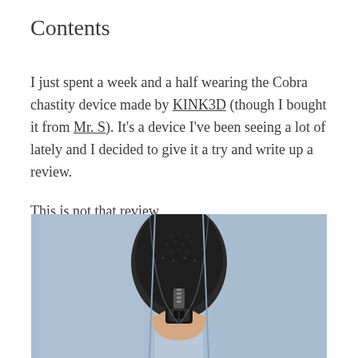Contents
I just spent a week and a half wearing the Cobra chastity device made by KINK3D (though I bought it from Mr. S). It's a device I've been seeing a lot of lately and I decided to give it a try and write up a review.
This is not that review.
[Figure (photo): Close-up photo of jeans being unzipped, revealing a dark textured surface underneath, with a hand holding the zipper pull]